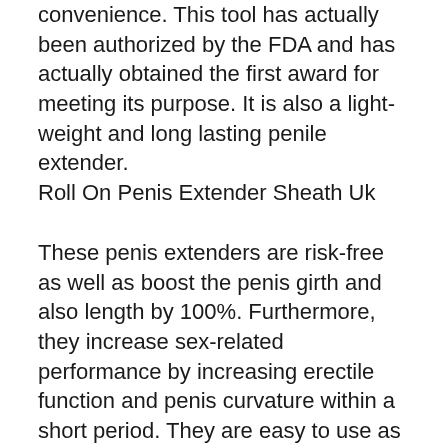convenience. This tool has actually been authorized by the FDA and has actually obtained the first award for meeting its purpose. It is also a light-weight and long lasting penile extender.
Roll On Penis Extender Sheath Uk
These penis extenders are risk-free as well as boost the penis girth and also length by 100%. Furthermore, they increase sex-related performance by increasing erectile function and penis curvature within a short period. They are easy to use as well as extremely effective. You should understand that penile extenders are used to stretch the penile cells and also cells and boost development by repairing and creating new